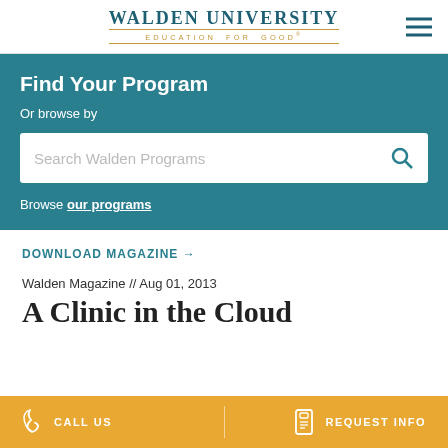WALDEN UNIVERSITY EDUCATION FOR GOOD®
Find Your Program
Or browse by
Search Walden Programs
Browse our programs
DOWNLOAD MAGAZINE →
Walden Magazine // Aug 01, 2013
A Clinic in the Cloud
CALL US   REQUEST INFO